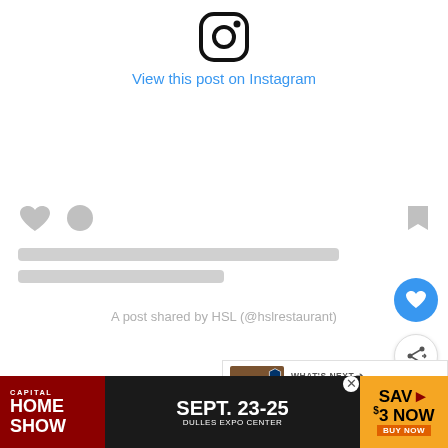[Figure (screenshot): Instagram embed widget showing the Instagram logo icon at top, 'View this post on Instagram' link, skeleton loading placeholders, social action icons (heart, comment, bookmark), and attribution text 'A post shared by HSL (@hslrestaurant)'. Floating like and share buttons on the right side.]
[Figure (other): 'WHAT'S NEXT' banner with thumbnail image and text '18 Fast Food Restaurants...']
American fare for foodies, HSL is a place w... dishes but a totally unpretentious vibe. HSL is the evol... illo in Par... ndle Salt
[Figure (other): Advertisement banner: 'CAPITAL HOME SHOW SEPT. 23-25 DULLES EXPO CENTER SAVE $3 NOW BUY NOW']